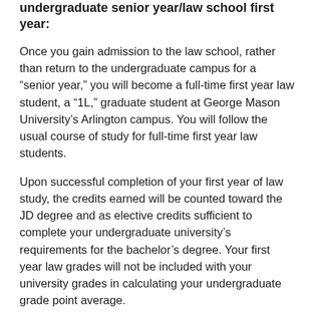undergraduate senior year/law school first year:
Once you gain admission to the law school, rather than return to the undergraduate campus for a “senior year,” you will become a full-time first year law student, a “1L,” graduate student at George Mason University’s Arlington campus. You will follow the usual course of study for full-time first year law students.
Upon successful completion of your first year of law study, the credits earned will be counted toward the JD degree and as elective credits sufficient to complete your undergraduate university’s requirements for the bachelor’s degree. Your first year law grades will not be included with your university grades in calculating your undergraduate grade point average.
If, for whatever reason, you elect to withdraw from the law program or if you fail to complete successfully the first year of law school, you may return without reapplication to your undergraduate university to complete your bachelor’s degree.